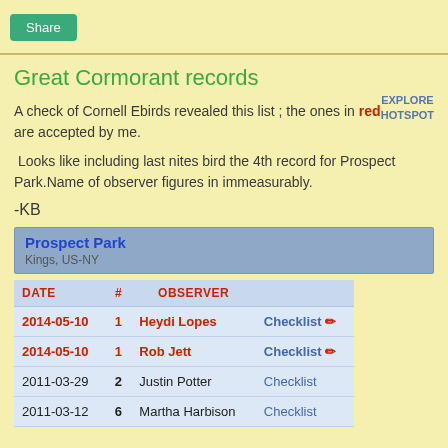Share
Great Cormorant records
A check of Cornell Ebirds revealed this list ; the ones in red are accepted by me.
EXPLORE HOTSPOT
Looks like including last nites bird the 4th record for Prospect Park.Name of observer figures in immeasurably.
-KB
| DATE | # | OBSERVER |  |
| --- | --- | --- | --- |
| 2014-05-10 | 1 | Heydi Lopes | Checklist ✏ |
| 2014-05-10 | 1 | Rob Jett | Checklist ✏ |
| 2011-03-29 | 2 | Justin Potter | Checklist |
| 2011-03-12 | 6 | Martha Harbison | Checklist |